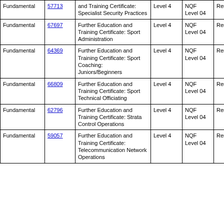| Type | ID | Qualification | Level | NQF Level | Status | Date |  |
| --- | --- | --- | --- | --- | --- | --- | --- |
| Fundamental | 57713 | and Training Certificate: Specialist Security Practices | Level 4 | NQF Level 04 | Reregistered | 2023-06-30 | S |
| Fundamental | 67697 | Further Education and Training Certificate: Sport Administration | Level 4 | NQF Level 04 | Reregistered | 2023-06-30 | A P re a C |
| Fundamental | 64369 | Further Education and Training Certificate: Sport Coaching: Juniors/Beginners | Level 4 | NQF Level 04 | Reregistered | 2023-06-30 | C |
| Fundamental | 66809 | Further Education and Training Certificate: Sport Technical Officiating | Level 4 | NQF Level 04 | Reregistered | 2023-06-30 | C |
| Fundamental | 62796 | Further Education and Training Certificate: Strata Control Operations | Level 4 | NQF Level 04 | Reregistered | 2023-06-30 | M |
| Fundamental | 59057 | Further Education and Training Certificate: Telecommunication Network Operations | Level 4 | NQF Level 04 | Reregistered | 2023-06-30 | M |